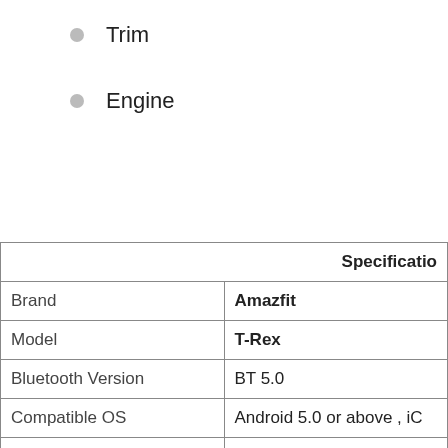Trim
Engine
|  | Specification |
| --- | --- |
| Brand | Amazfit |
| Model | T-Rex |
| Bluetooth Version | BT 5.0 |
| Compatible OS | Android 5.0 or above , iC |
| Operating Mode | Touch Screen+Press Butt |
| APP Name | Amazfit |
|  | Special Featu |
| ... | ... |